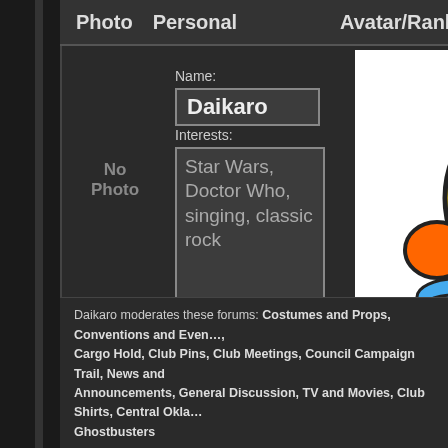Photo   Personal   Avatar/Rank
No Photo
Name:
Daikaro
Interests:
Star Wars, Doctor Who, singing, classic rock
[Figure (illustration): Sad face emoji character with yellow round head, orange ears/arms, blue hands, frowning expression with tear - TinyPic placeholder image. Text below reads: This image is no longer available. Visit tinypic.com for more information.]
Jedi Council
Daikaro moderates these forums: Costumes and Props, Conventions and Events, Cargo Hold, Club Pins, Club Meetings, Council Campaign Trail, News and Announcements, General Discussion, TV and Movies, Club Shirts, Central Okla... Ghostbusters